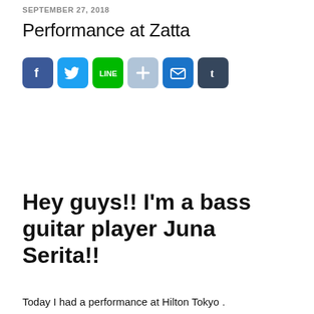SEPTEMBER 27, 2018
Performance at Zatta
[Figure (infographic): Social media sharing icons: Facebook (blue), Twitter (light blue), LINE (green), Plus/share (light blue-grey), Mail (dark blue), Tumblr (dark slate)]
Hey guys!! I'm a bass guitar player Juna Serita!!
Today I had a performance at Hilton Tokyo .